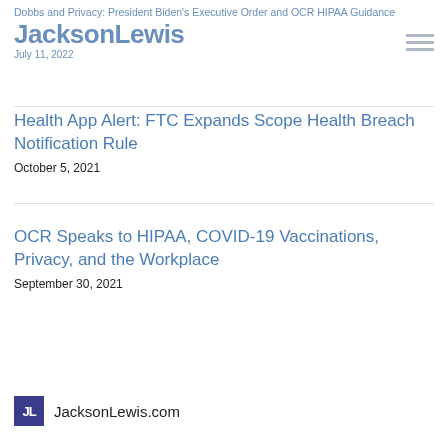Dobbs and Privacy: President Biden's Executive Order and OCR HIPAA Guidance
JacksonLewis
July 11, 2022
Health App Alert: FTC Expands Scope Health Breach Notification Rule
October 5, 2021
OCR Speaks to HIPAA, COVID-19 Vaccinations, Privacy, and the Workplace
September 30, 2021
JL JacksonLewis.com